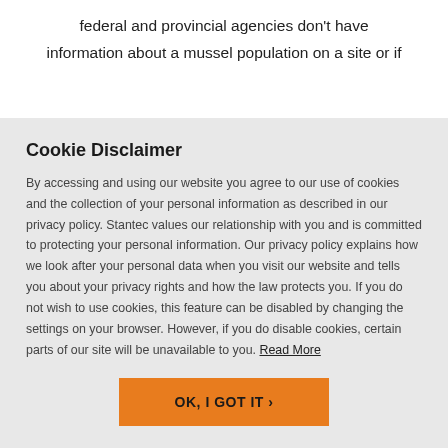federal and provincial agencies don't have information about a mussel population on a site or if
Cookie Disclaimer
By accessing and using our website you agree to our use of cookies and the collection of your personal information as described in our privacy policy. Stantec values our relationship with you and is committed to protecting your personal information. Our privacy policy explains how we look after your personal data when you visit our website and tells you about your privacy rights and how the law protects you. If you do not wish to use cookies, this feature can be disabled by changing the settings on your browser. However, if you do disable cookies, certain parts of our site will be unavailable to you. Read More
OK, I GOT IT ›